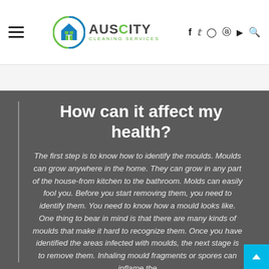Auscity Cleaning Services — navigation header with logo and social icons
How can it affect my health?
The first step is to know how to identify the moulds. Moulds can grow anywhere in the home. They can grow in any part of the house-from kitchen to the bathroom. Molds can easily fool you. Before you start removing them, you need to identify them. You need to know how a mould looks like. One thing to bear in mind is that there are many kinds of moulds that make it hard to recognize them. Once you have identified the areas infected with moulds, the next stage is to remove them. Inhaling mould fragments or spores can inflame the